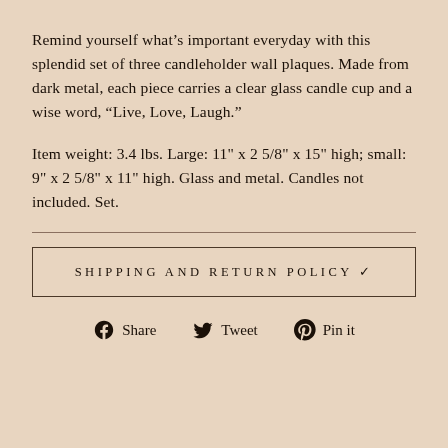Remind yourself what’s important everyday with this splendid set of three candleholder wall plaques. Made from dark metal, each piece carries a clear glass candle cup and a wise word, “Live, Love, Laugh.”
Item weight: 3.4 lbs. Large: 11" x 2 5/8" x 15" high; small: 9" x 2 5/8" x 11" high. Glass and metal. Candles not included. Set.
SHIPPING AND RETURN POLICY
Share   Tweet   Pin it